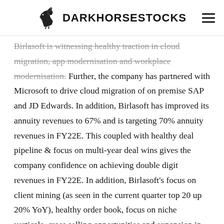DARKHORSESTOCKS
Birlasoft is witnessing healthy traction in cloud migration, app modernisation and workplace modernisation. Further, the company has partnered with Microsoft to drive cloud migration of on premise SAP and JD Edwards. In addition, Birlasoft has improved its annuity revenues to 67% and is targeting 70% annuity revenues in FY22E. This coupled with healthy deal pipeline & focus on multi-year deal wins gives the company confidence on achieving double digit revenues in FY22E. In addition, Birlasoft's focus on client mining (as seen in the current quarter top 20 up 20% YoY), healthy order book, focus on niche verticals, cross selling opportunities and expansion in Europe & APAC bode well for long term revenue
Some of the new opportunities seems to have been emerged